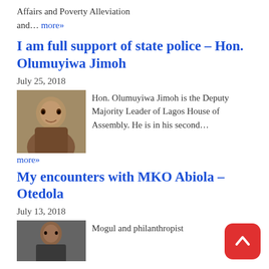Affairs and Poverty Alleviation and… more»
I am full support of state police – Hon. Olumuyiwa Jimoh
July 25, 2018
[Figure (photo): Photo of Hon. Olumuyiwa Jimoh, a man in traditional attire]
Hon. Olumuyiwa Jimoh is the Deputy Majority Leader of Lagos House of Assembly. He is in his second…
more»
My encounters with MKO Abiola – Otedola
July 13, 2018
[Figure (photo): Photo of person, partially visible]
Mogul and philanthropist